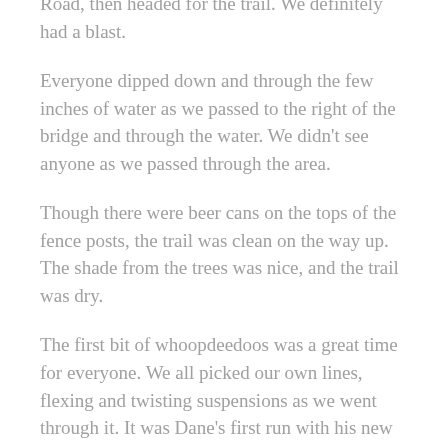Road, then headed for the trail. We definitely had a blast.
Everyone dipped down and through the few inches of water as we passed to the right of the bridge and through the water. We didn't see anyone as we passed through the area.
Though there were beer cans on the tops of the fence posts, the trail was clean on the way up. The shade from the trees was nice, and the trail was dry.
The first bit of whoopdeedoos was a great time for everyone. We all picked our own lines, flexing and twisting suspensions as we went through it. It was Dane's first run with his new Wrangler JK and he was happy with how it flexed, which was nice.